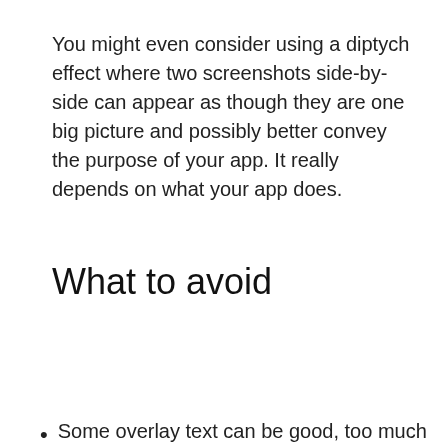You might even consider using a diptych effect where two screenshots side-by-side can appear as though they are one big picture and possibly better convey the purpose of your app. It really depends on what your app does.
What to avoid
[Figure (screenshot): Cookie consent overlay banner with teal background containing cookie notice text, 'Learn more' link, and white 'Accept' button.]
Some overlay text can be good, too much can